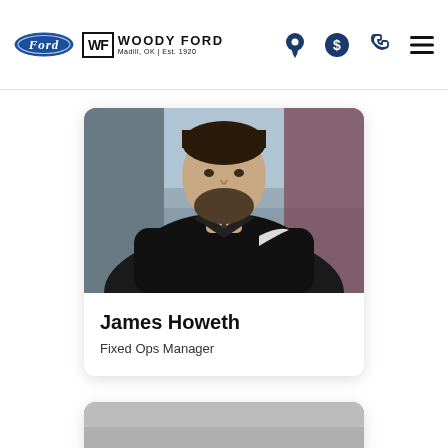Woody Ford — Madill, OK | Est. 1920
[Figure (photo): Portrait photo of James Howeth, a bearded man wearing a black Nike polo shirt, photographed from the chest up in an office/dealership setting.]
James Howeth
Fixed Ops Manager
[Figure (photo): Partially visible second staff photo card at the bottom of the page, showing a grey/neutral background — photo content not visible.]